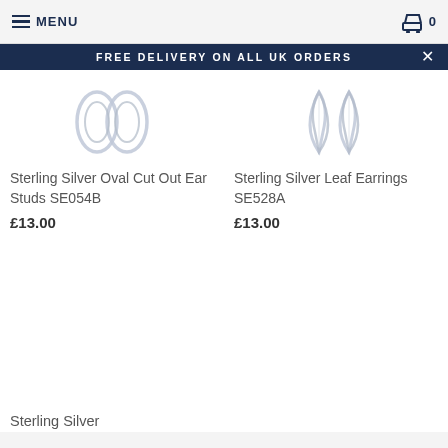MENU  0
FREE DELIVERY ON ALL UK ORDERS
[Figure (photo): Partial view of Sterling Silver Oval Cut Out Ear Studs SE054B product image]
Sterling Silver Oval Cut Out Ear Studs SE054B
£13.00
[Figure (photo): Partial view of Sterling Silver Leaf Earrings SE528A product image]
Sterling Silver Leaf Earrings SE528A
£13.00
Sterling Silver